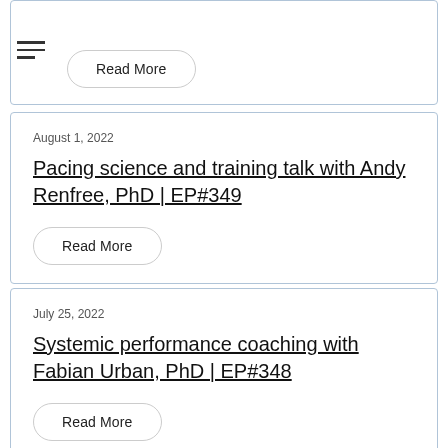Read More
August 1, 2022
Pacing science and training talk with Andy Renfree, PhD | EP#349
Read More
July 25, 2022
Systemic performance coaching with Fabian Urban, PhD | EP#348
Read More